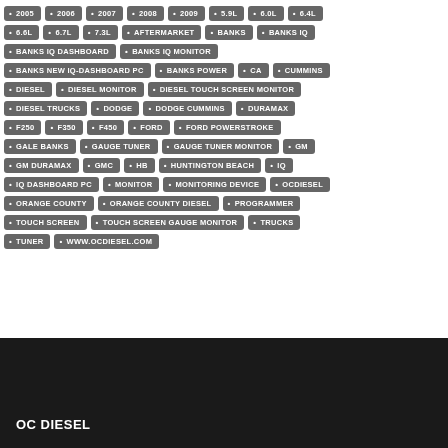[Figure (infographic): Tag cloud of keywords related to OC Diesel, including years (2005-2009), engine sizes (5.9L-7.3L), brands (Banks, Ford, Dodge, GM, GMC), and product terms (monitor, tuner, programmer, touch screen, dashboard PC)]
OC DIESEL